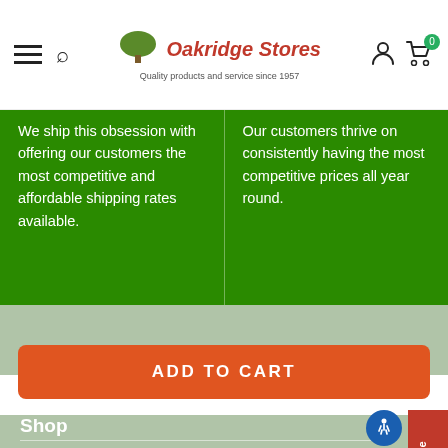Oakridge Stores — Quality products and service since 1957
We ship this obsession with offering our customers the most competitive and affordable shipping rates available.
Our customers thrive on consistently having the most competitive prices all year round.
ADD TO CART
Shop
Customer Service
Join In Our Mailing List